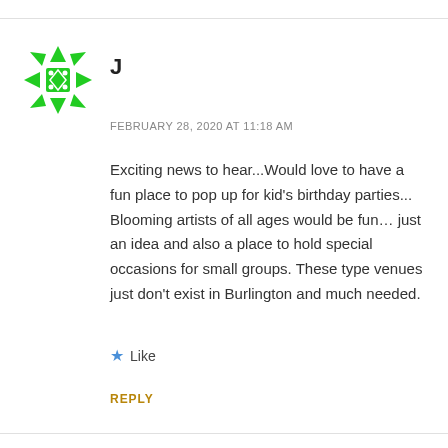[Figure (logo): Green geometric mandala/snowflake avatar icon for user J]
J
FEBRUARY 28, 2020 AT 11:18 AM
Exciting news to hear...Would love to have a fun place to pop up for kid’s birthday parties... Blooming artists of all ages would be fun... just an idea and also a place to hold special occasions for small groups. These type venues just don’t exist in Burlington and much needed.
★ Like
REPLY